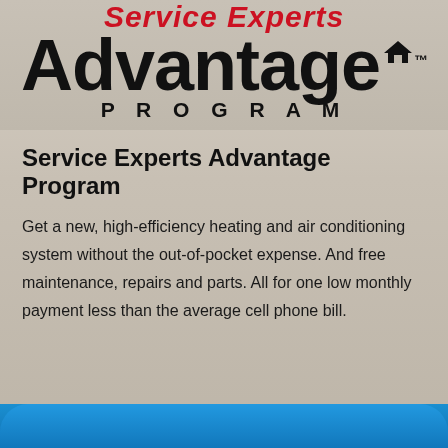[Figure (logo): Service Experts Advantage Program logo — red italic 'Service Experts' text above large bold black 'Advantage' with a house icon and TM mark, and 'PROGRAM' in spaced capitals below]
Service Experts Advantage Program
Get a new, high-efficiency heating and air conditioning system without the out-of-pocket expense. And free maintenance, repairs and parts. All for one low monthly payment less than the average cell phone bill.